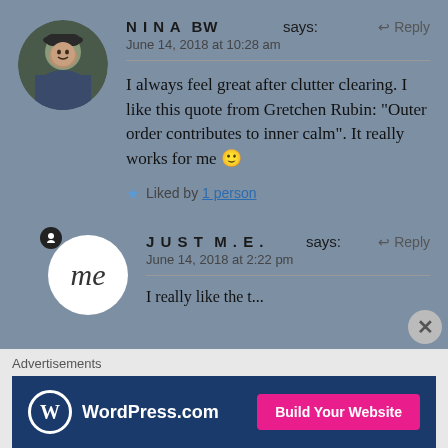[Figure (photo): Circular avatar photo of Nina BW, a person wearing a dark hat and jacket, outdoors]
NINA BW says:
↩ Reply
June 14, 2018 at 10:28 am
I always feel great after clutter clearing. I like this quote from Gretchen Rubin: "Outer order contributes to inner calm". It really works for me 🙂
★ Liked by 1 person
[Figure (illustration): Circular avatar with cursive 'me' text on white circle, with notification dot]
JUST M.E. says:
↩ Reply
June 14, 2018 at 2:22 pm
Advertisements
[Figure (screenshot): WordPress.com advertisement banner with dark blue background, WordPress logo, and pink 'Build Your Website' button]